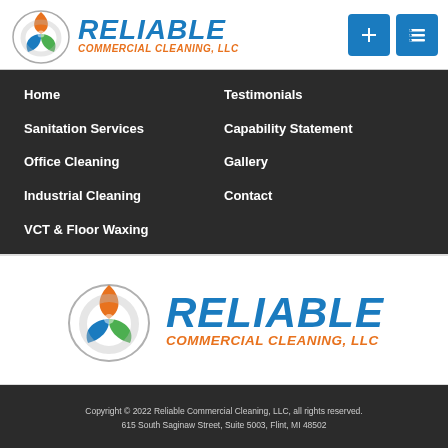RELIABLE COMMERCIAL CLEANING, LLC
Home
Testimonials
Sanitation Services
Capability Statement
Office Cleaning
Gallery
Industrial Cleaning
Contact
VCT & Floor Waxing
[Figure (logo): Reliable Commercial Cleaning LLC logo with triquetra/trefoil knot design in orange, blue, green and text RELIABLE COMMERCIAL CLEANING, LLC]
Copyright © 2022 Reliable Commercial Cleaning, LLC, all rights reserved. 615 South Saginaw Street, Suite 5003, Flint, MI 48502